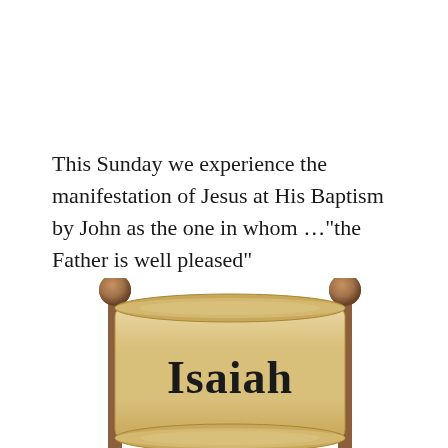This Sunday we experience the manifestation of Jesus at His Baptism by John as the one in whom …"the Father is well pleased"
[Figure (illustration): An illustration of an ancient scroll/parchment with two wooden poles topped with bronze/copper ball finials, unrolled to display the word 'Isaiah' written in bold serif font.]